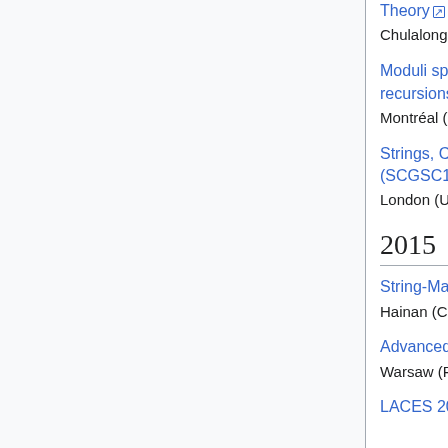Theory
Chulalongkorn University (Thailand), 18-22 January 2016
Moduli spaces, integrable systems, and topological recursions
Montréal (Canada), 9-13 January 2016
Strings, Cosmology and Gravity Student Conference (SCGSC16)
London (UK), 7-8 January 2016
2015
String-Math Conference 2015
Hainan (China), 31 December 2015 - 5 January 2016
Advanced School on Topological Quantum Field Theory
Warsaw (Poland), 7-9 December 2015
LACES 2015 - PhD School in Theoretical